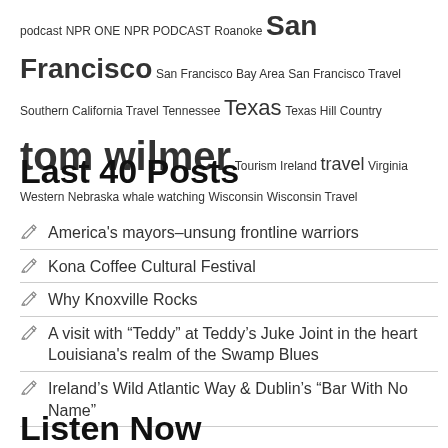podcast NPR ONE NPR PODCAST Roanoke San Francisco San Francisco Bay Area San Francisco Travel Southern California Travel Tennessee Texas Texas Hill Country tom wilmer Tourism Ireland travel Virginia Western Nebraska whale watching Wisconsin Wisconsin Travel
Last 40 Posts
America's mayors–unsung frontline warriors
Kona Coffee Cultural Festival
Why Knoxville Rocks
A visit with “Teddy” at Teddy’s Juke Joint in the heart Louisiana's realm of the Swamp Blues
Ireland’s Wild Atlantic Way & Dublin’s “Bar With No Name”
Listen Now